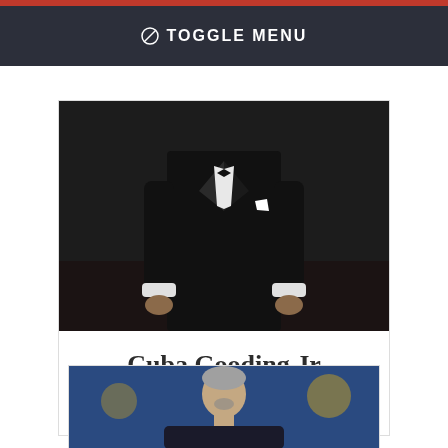⊘ TOGGLE MENU
[Figure (photo): Man in black tuxedo suit, torso and hands visible, red carpet background]
Cuba Gooding Jr
Vote for Cuba Gooding Jr
[Figure (photo): Man with short grey hair in dark attire, appearing to be at an awards show with blue background]